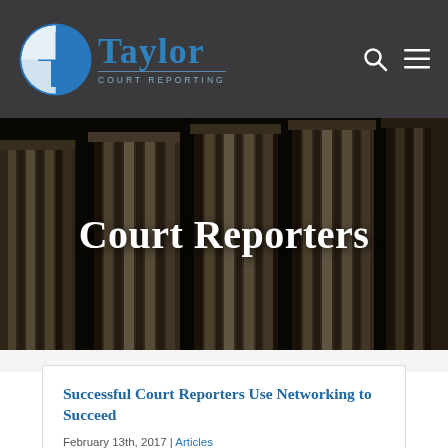[Figure (logo): Taylor Court Reporting logo: blue circle with 't' cross icon, blue 'Taylor' text, and 'COURT REPORTING' subtitle]
[Figure (photo): Dark photograph of classical stone columns (courthouse pillars) viewed from below at an angle, used as hero banner background]
Court Reporters
Successful Court Reporters Use Networking to Succeed
February 13th, 2017 | Articles